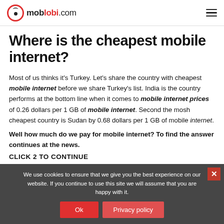moblobi.com
Where is the cheapest mobile internet?
Most of us thinks it's Turkey. Let's share the country with cheapest mobile internet before we share Turkey's list. India is the country performs at the bottom line when it comes to mobile internet prices of 0.26 dollars per 1 GB of mobile internet. Second the mosh cheapest country is Sudan by 0.68 dollars per 1 GB of mobile internet.
Well how much do we pay for mobile internet? To find the answer continues at the news.
CLICK 2 TO CONTINUE
We use cookies to ensure that we give you the best experience on our website. If you continue to use this site we will assume that you are happy with it.